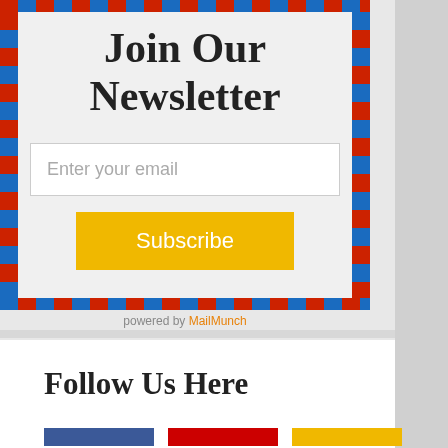Join Our Newsletter
[Figure (infographic): Email subscription widget with airmail-style dashed red/blue diagonal border border, email input field, and yellow Subscribe button on light gray background]
powered by MailMunch
Follow Us Here